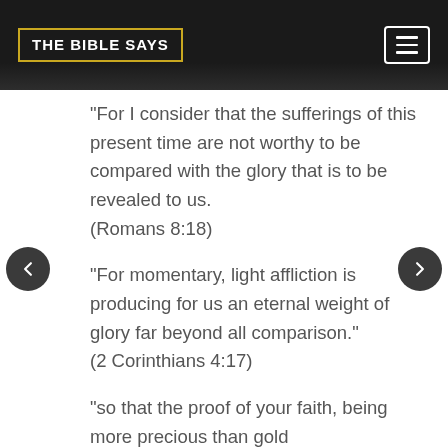THE BIBLE SAYS
“For I consider that the sufferings of this present time are not worthy to be compared with the glory that is to be revealed to us. (Romans 8:18)
“For momentary, light affliction is producing for us an eternal weight of glory far beyond all comparison.” (2 Corinthians 4:17)
“so that the proof of your faith, being more precious than gold